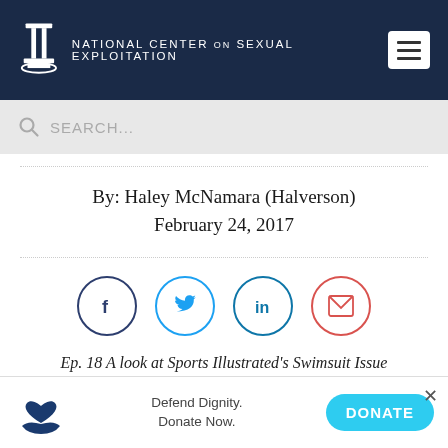[Figure (screenshot): National Center on Sexual Exploitation website header with logo, organization name, and hamburger menu]
[Figure (screenshot): Search bar with magnifying glass icon and placeholder text SEARCH...]
By: Haley McNamara (Halverson)
February 24, 2017
[Figure (infographic): Social sharing buttons: Facebook (dark blue circle), Twitter (light blue circle), LinkedIn (light blue circle), Email (red circle)]
Ep. 18 A look at Sports Illustrated's Swimsuit Issue
[Figure (infographic): Donate banner with heart-on-hand icon, Defend Dignity. Donate Now. text, DONATE button, and X close button]